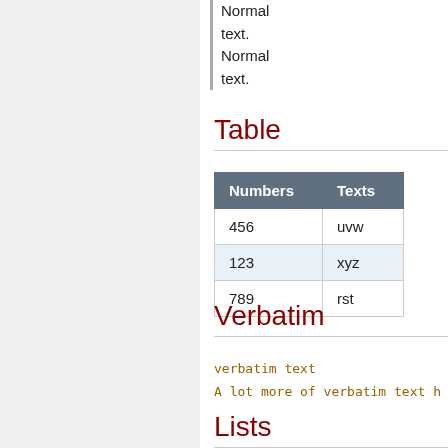Normal text. Normal text.
Table
| Numbers | Texts |
| --- | --- |
| 456 | uvw |
| 123 | xyz |
| 789 | rst |
Verbatim
verbatim text
A lot more of verbatim text h
Lists